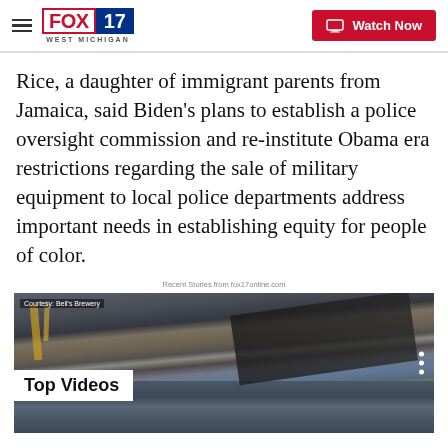FOX 17 WEST MICHIGAN | Watch Now
Rice, a daughter of immigrant parents from Jamaica, said Biden's plans to establish a police oversight commission and re-institute Obama era restrictions regarding the sale of military equipment to local police departments address important needs in establishing equity for people of color.
Recent Stories from fox17online.com
[Figure (screenshot): Top Videos section with a brewery/canning facility background image. Text overlay reads 'Courtesy: Bell's Brewery' and 'Top Videos'. Three-dot menu icon visible on the right.]